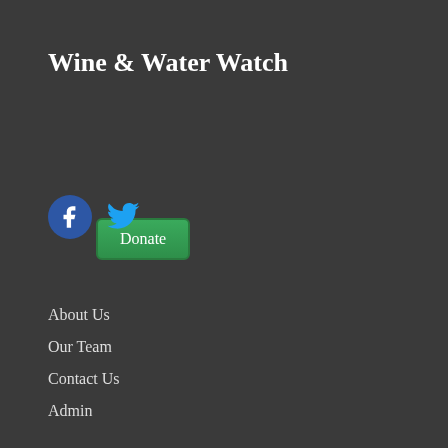Wine & Water Watch
[Figure (other): Green Donate button]
[Figure (other): Facebook and Twitter social media icons]
About Us
Our Team
Contact Us
Admin
Search by Category
[Figure (other): Select Category dropdown input]